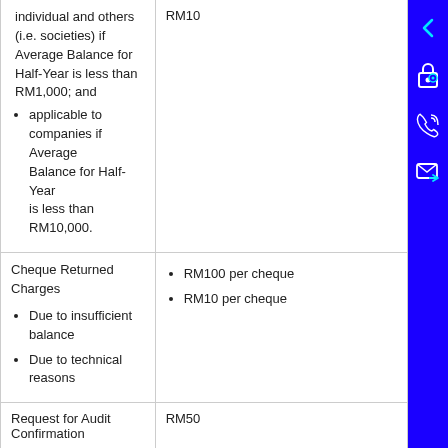| Fee Type | Amount |
| --- | --- |
| individual and others (i.e. societies) if Average Balance for Half-Year is less than RM1,000; and applicable to companies if Average Balance for Half-Year is less than RM10,000. | RM10 |
| Cheque Returned Charges
Due to insufficient balance
Due to technical reasons | RM100 per cheque
RM10 per cheque |
| Request for Audit Confirmation | RM50 |
|  | Fee @ 0.01% p.a. |